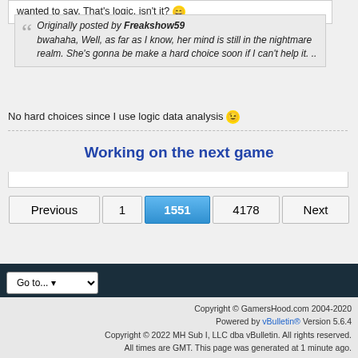wanted to say. That's logic, isn't it? 😄
Originally posted by Freakshow59
bwahaha, Well, as far as I know, her mind is still in the nightmare realm. She's gonna be make a hard choice soon if I can't help it. ..
No hard choices since I use logic data analysis 😉
Working on the next game
Previous 1 1551 4178 Next
Go to...
Copyright © GamersHood.com 2004-2020
Powered by vBulletin® Version 5.6.4
Copyright © 2022 MH Sub I, LLC dba vBulletin. All rights reserved.
All times are GMT. This page was generated at 1 minute ago.